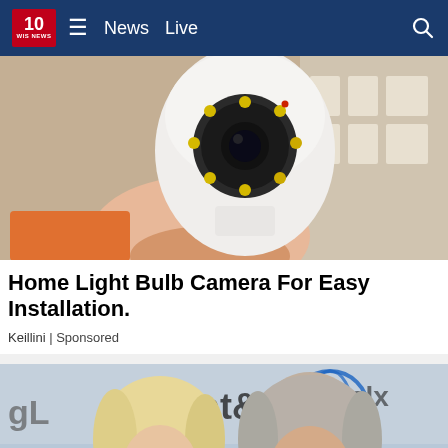10 WIS NEWS | News  Live
[Figure (photo): A hand holding a small white dome-shaped home security camera with LED ring, with cardboard boxes in background]
Home Light Bulb Camera For Easy Installation.
Keillini | Sponsored
[Figure (photo): Two people (a blonde woman and an older man with gray hair and beard) at an AT&T event; close-up portrait showing faces, with AT&T and ALX logos visible in background]